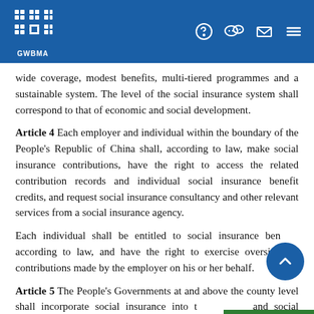GWBMA
wide coverage, modest benefits, multi-tiered programmes and a sustainable system. The level of the social insurance system shall correspond to that of economic and social development.
Article 4 Each employer and individual within the boundary of the People's Republic of China shall, according to law, make social insurance contributions, have the right to access the related contribution records and individual social insurance benefit credits, and request social insurance consultancy and other relevant services from a social insurance agency.
Each individual shall be entitled to social insurance benefits according to law, and have the right to exercise oversight of contributions made by the employer on his or her behalf.
Article 5 The People's Governments at and above the county level shall incorporate social insurance into the national and social development programmes.